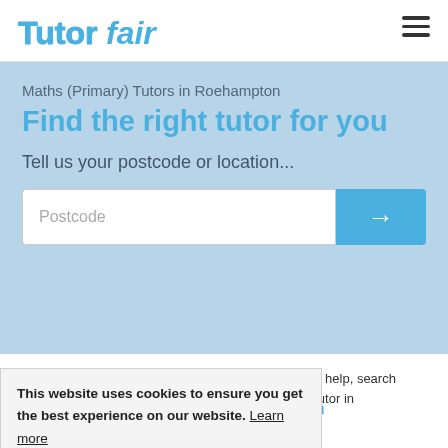TutorFair
Maths (Primary) Tutors in Roehampton
Find the right tutor for you
Tell us your postcode or location...
Postcode
Our Primary Maths tutors in Roehampton are here to help, search using your postcode to find the best Primary Maths tutor in Roehampton.
This website uses cookies to ensure you get the best experience on our website. Learn more
47 Primary Maths Tutors in Roehampton
Jude S